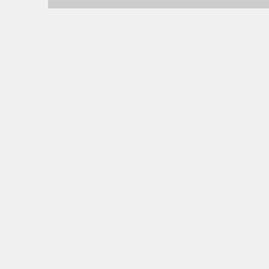Copyright Rф. Р'РёС,СКСъ Viter.com 2008-2012